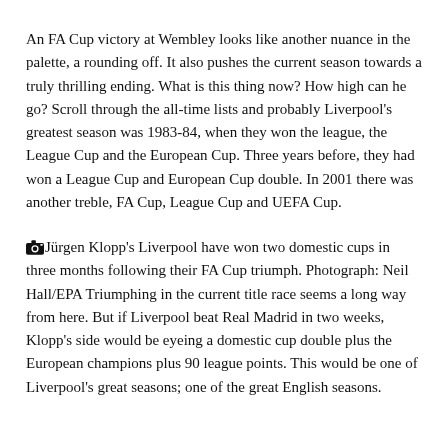An FA Cup victory at Wembley looks like another nuance in the palette, a rounding off. It also pushes the current season towards a truly thrilling ending. What is this thing now? How high can he go? Scroll through the all-time lists and probably Liverpool's greatest season was 1983-84, when they won the league, the League Cup and the European Cup. Three years before, they had won a League Cup and European Cup double. In 2001 there was another treble, FA Cup, League Cup and UEFA Cup.
[camera icon] Jürgen Klopp's Liverpool have won two domestic cups in three months following their FA Cup triumph. Photograph: Neil Hall/EPA Triumphing in the current title race seems a long way from here. But if Liverpool beat Real Madrid in two weeks, Klopp's side would be eyeing a domestic cup double plus the European champions plus 90 league points. This would be one of Liverpool's great seasons; one of the great English seasons.